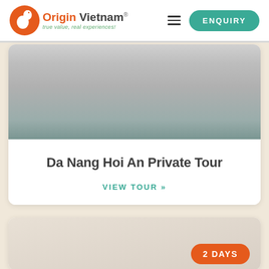[Figure (logo): Origin Vietnam logo with orange bird icon and green tagline 'true value, real experiences!']
ENQUIRY
[Figure (photo): Hero image for Da Nang Hoi An tour, showing a landscape with grey gradient overlay]
Da Nang Hoi An Private Tour
VIEW TOUR »
[Figure (photo): Partial second tour card with '2 DAYS' badge visible at bottom right]